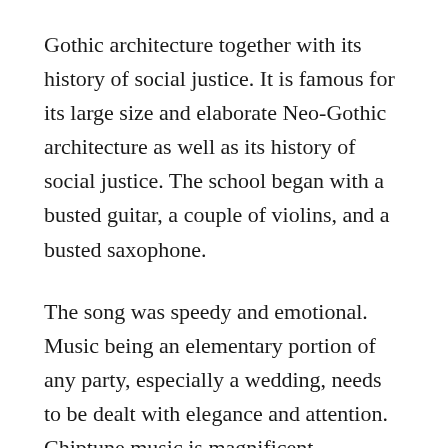Gothic architecture together with its history of social justice. It is famous for its large size and elaborate Neo-Gothic architecture as well as its history of social justice. The school began with a busted guitar, a couple of violins, and a busted saxophone.
The song was speedy and emotional. Music being an elementary portion of any party, especially a wedding, needs to be dealt with elegance and attention. Chiptune music is magnificent. Composing music cannot be forced, but I understand that if I work my creative muscle daily, inspiration is a great deal more likely to strike.
Please don't comment if you're not a musician. Right